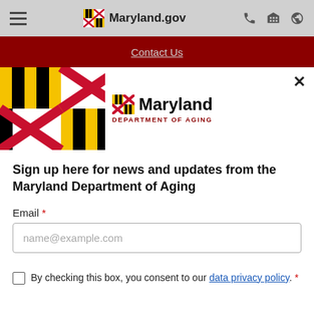Maryland.gov navigation bar with hamburger menu, phone, building, and globe icons
Contact Us
[Figure (screenshot): Maryland state flag and Maryland Department of Aging logo with a close (×) button]
Sign up here for news and updates from the Maryland Department of Aging
Email *
name@example.com (placeholder)
By checking this box, you consent to our data privacy policy. *